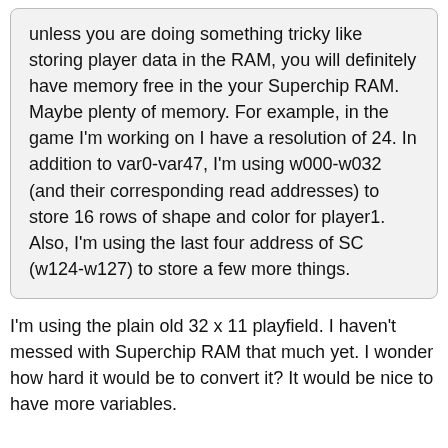unless you are doing something tricky like storing player data in the RAM, you will definitely have memory free in the your Superchip RAM. Maybe plenty of memory. For example, in the game I'm working on I have a resolution of 24. In addition to var0-var47, I'm using w000-w032 (and their corresponding read addresses) to store 16 rows of shape and color for player1. Also, I'm using the last four address of SC (w124-w127) to store a few more things.
I'm using the plain old 32 x 11 playfield. I haven't messed with Superchip RAM that much yet. I wonder how hard it would be to convert it? It would be nice to have more variables.